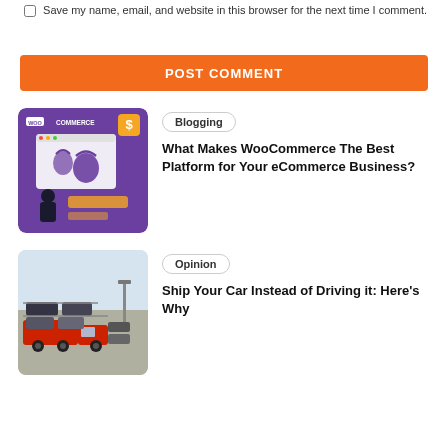Save my name, email, and website in this browser for the next time I comment.
POST COMMENT
[Figure (illustration): WooCommerce eCommerce platform promotional image with purple background, bag icons, and dollar badge]
Blogging
What Makes WooCommerce The Best Platform for Your eCommerce Business?
[Figure (photo): Car transport truck carrying multiple cars in a parking lot]
Opinion
Ship Your Car Instead of Driving it: Here's Why